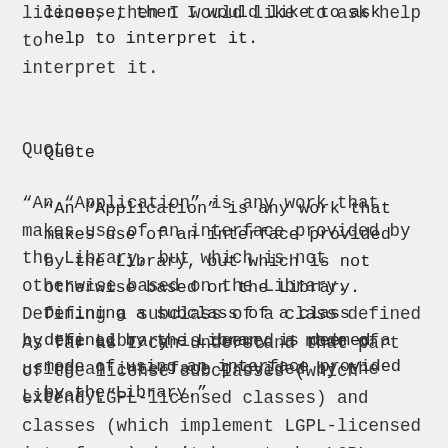license, then I would like to ask help to interpret it.
Quote
“An “Application” is any work that makes use of an interface provided by the Library, but which is not otherwise based on the Library. Defining a subclass of a class defined by the Library is deemed a mode of using an interface provided by the Library.”
As far as I can understand that part of the license subclasses (which extend LGPL-licensed classes) and classes (which implement LGPL-licensed interfaces) don’t have to be LGPL-licensed.